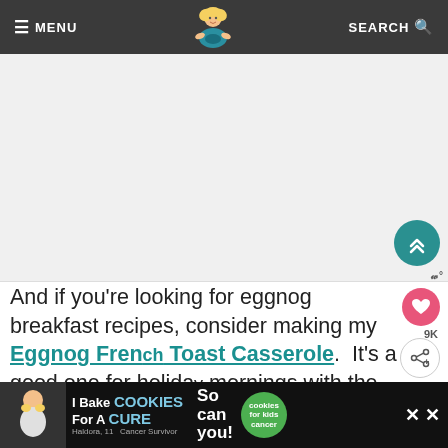≡ MENU   [logo]   SEARCH 🔍
[Figure (photo): Light gray placeholder image area for a recipe photo]
And if you're looking for eggnog breakfast recipes, consider making my Eggnog French Toast Casserole.  It's a good one for holiday mornings with the relatives!  No Yeast Eggnog
[Figure (other): Advertisement banner: I Bake COOKIES For A CURE - Haldora, 11 Cancer Survivor - So can you! - cookies for kids cancer]